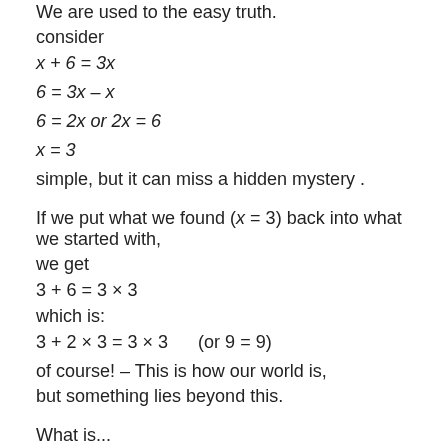We are used to the easy truth.
consider
simple, but it can miss a hidden mystery .
If we put what we found (x = 3) back into what we started with,
we get
which is:
of course! – This is how our world is,
but something lies beyond this.
What is...